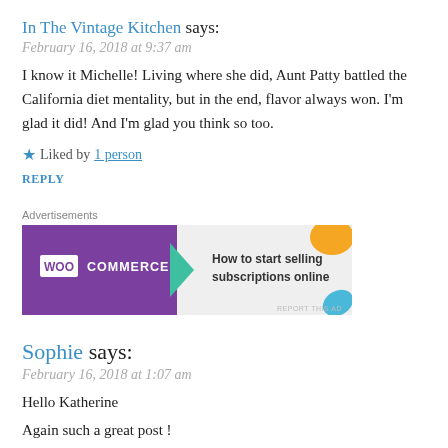In The Vintage Kitchen says:
February 16, 2018 at 9:37 am
I know it Michelle! Living where she did, Aunt Patty battled the California diet mentality, but in the end, flavor always won. I'm glad it did! And I'm glad you think so too.
★ Liked by 1 person
REPLY
[Figure (other): WooCommerce advertisement banner: purple background with WooCommerce logo and text 'How to start selling subscriptions online']
Sophie says:
February 16, 2018 at 1:07 am
Hello Katherine
Again such a great post !